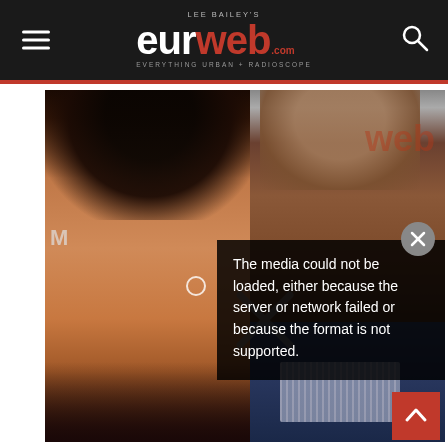Lee Bailey's eurweb - Everything Urban + Radioscope
[Figure (photo): Side-by-side composite photo of a young woman with curly black hair and a bald man, with a media error overlay box reading 'The media could not be loaded, either because the server or network failed or because the format is not supported.']